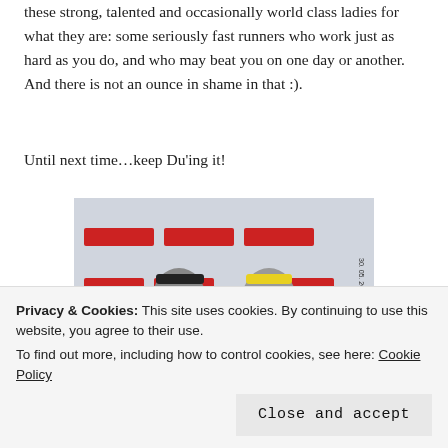these strong, talented and occasionally world class ladies for what they are: some seriously fast runners who work just as hard as you do, and who may beat you on one day or another. And there is not an ounce in shame in that :).
Until next time…keep Du'ing it!
[Figure (photo): Two male runners wearing race medals and visors posing in front of a Scotiabank race banner backdrop, dated 30-05-2015 21:02]
Privacy & Cookies: This site uses cookies. By continuing to use this website, you agree to their use.
To find out more, including how to control cookies, see here: Cookie Policy